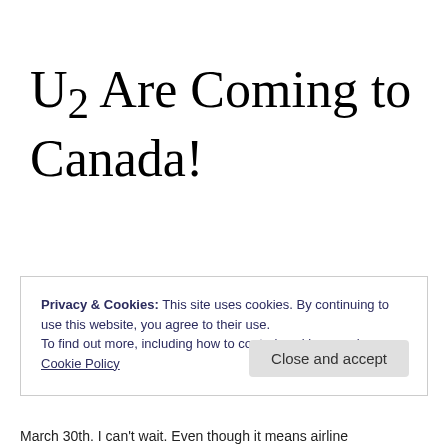U2 Are Coming to Canada!
Privacy & Cookies: This site uses cookies. By continuing to use this website, you agree to their use.
To find out more, including how to control cookies, see here: Cookie Policy
Close and accept
March 30th.  I can't wait.  Even though it means airline